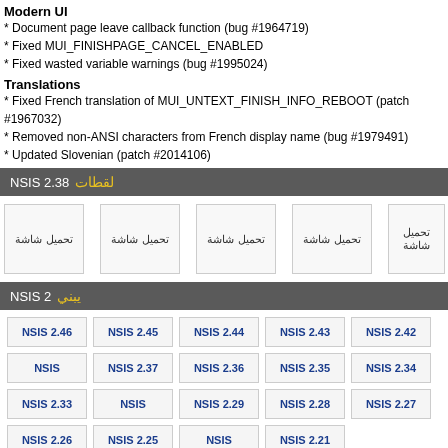Modern UI
* Document page leave callback function (bug #1964719)
* Fixed MUI_FINISHPAGE_CANCEL_ENABLED
* Fixed wasted variable warnings (bug #1995024)
Translations
* Fixed French translation of MUI_UNTEXT_FINISH_INFO_REBOOT (patch #1967032)
* Removed non-ANSI characters from French display name (bug #1979491)
* Updated Slovenian (patch #2014106)
NSIS 2.38 لقطات
[Figure (screenshot): Five screenshot thumbnails labeled 'تحميل شاشة' (loading screen)]
NSIS 2 يبني
NSIS 2.46, NSIS 2.45, NSIS 2.44, NSIS 2.43, NSIS 2.42, NSIS, NSIS 2.37, NSIS 2.36, NSIS 2.35, NSIS 2.34, NSIS 2.33, NSIS, NSIS 2.29, NSIS 2.28, NSIS 2.27, NSIS 2.26, NSIS 2.25, NSIS, NSIS 2.21